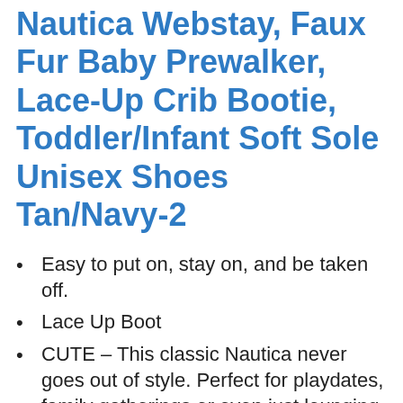Nautica Webstay, Faux Fur Baby Prewalker, Lace-Up Crib Bootie, Toddler/Infant Soft Sole Unisex Shoes Tan/Navy-2
Easy to put on, stay on, and be taken off.
Lace Up Boot
CUTE – This classic Nautica never goes out of style. Perfect for playdates, family gatherings or even just lounging around the house.
NO MORE LOST SOCKS OR SHOES – The Nautica baby shoes have to ensuring that they never fall off and cannot be easily pulled off by little